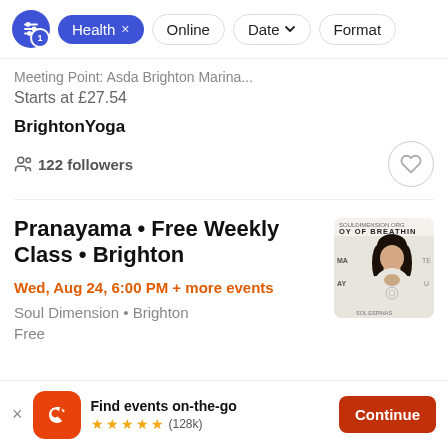Health × | Online | Date | Format
Meeting Point: Asda Brighton Marina...
Starts at £27.54
BrightonYoga
122 followers
Pranayama • Free Weekly Class • Brighton
Wed, Aug 24, 6:00 PM + more events
Soul Dimension • Brighton
Free
[Figure (photo): Event thumbnail showing a woman in prayer pose with text 'Joy of Breathing' and 'Soul Dimension']
Find events on-the-go
★★★★★ (128k)
Continue